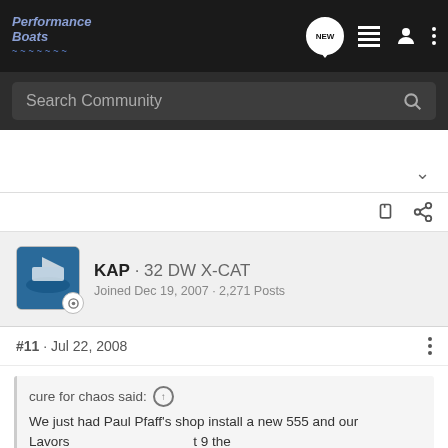Performance Boats
Search Community
KAP · 32 DW X-CAT
Joined Dec 19, 2007 · 2,271 Posts
#11 · Jul 22, 2008
cure for chaos said: ↑
We just had Paul Pfaff's shop install a new 555 and our Lavors... t 9 the o'clock... back to
[Figure (screenshot): Advertisement banner for The New 2022 Silverado by Chevrolet with Explore button and truck image]